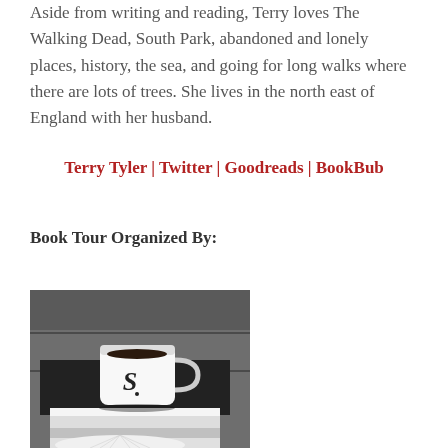Aside from writing and reading, Terry loves The Walking Dead, South Park, abandoned and lonely places, history, the sea, and going for long walks where there are lots of trees. She lives in the north east of England with her husband.
Terry Tyler | Twitter | Goodreads | BookBub
Book Tour Organized By:
[Figure (photo): Black and white photo of a white coffee mug with letter S on it, sitting on a black surface with open books underneath]